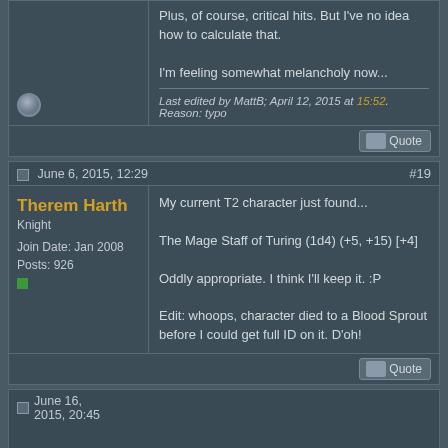Plus, of course, critical hits. But I've no idea how to calculate that.

I'm feeling somewhat melancholy now...
Last edited by MattB; April 12, 2015 at 15:52. Reason: typo
June 6, 2015, 12:29
#19
Therem Harth
Knight
Join Date: Jan 2008
Posts: 926
My current T2 character just found...

The Mage Staff of Turing (1d4) (+5, +15) [+4]

Oddly appropriate. I think I'll keep it. :P

Edit: whoops, character died to a Blood Sprout before I could get full ID on it. D'oh!
June 16, 2015, 20:45